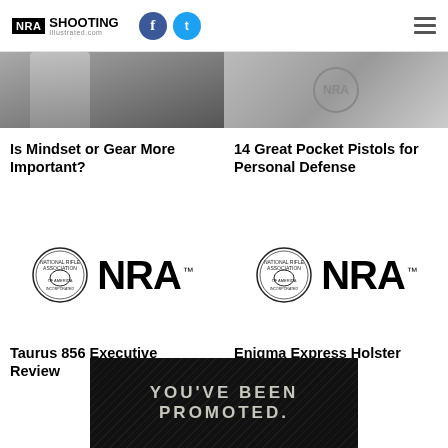NRA Shooting Illustrated .com
[Figure (photo): Two side-by-side cropped article thumbnail images at top of page]
Is Mindset or Gear More Important?
14 Great Pocket Pistols for Personal Defense
[Figure (logo): NRA seal and NRA wordmark logo (black on white) for Taurus 856 Executive Review article]
[Figure (logo): NRA seal and NRA wordmark logo (black on white) for Enigma Express Holster Review article]
Taurus 856 Executive Review
Enigma Express Holster Review
[Figure (infographic): Dark promotional banner with diagonal stripe texture reading YOU'VE BEEN PROMOTED.]